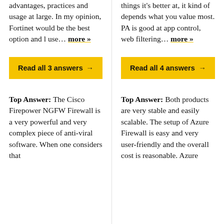advantages, practices and usage at large. In my opinion, Fortinet would be the best option and I use... more »
Read all 3 answers →
Top Answer:  The Cisco Firepower NGFW Firewall is a very powerful and very complex piece of anti-viral software. When one considers that
things it's better at, it kind of depends what you value most. PA is good at app control, web filtering... more »
Read all 4 answers →
Top Answer:  Both products are very stable and easily scalable. The setup of Azure Firewall is easy and very user-friendly and the overall cost is reasonable. Azure